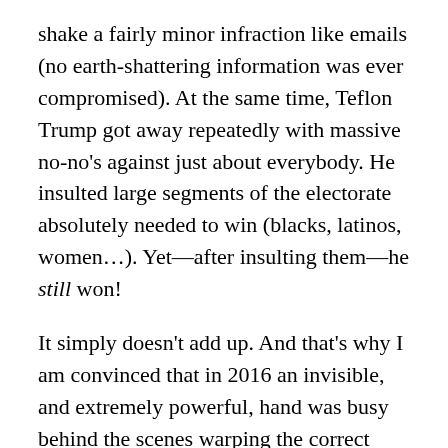shake a fairly minor infraction like emails (no earth-shattering information was ever compromised). At the same time, Teflon Trump got away repeatedly with massive no-no's against just about everybody. He insulted large segments of the electorate absolutely needed to win (blacks, latinos, women…). Yet—after insulting them—he still won!
It simply doesn't add up. And that's why I am convinced that in 2016 an invisible, and extremely powerful, hand was busy behind the scenes warping the correct functioning of our democracy. That hand helped Trump at every turn and hindered Clinton. Yes, I know this sounds conspiratorial… But look at the data: a weird campaign, a contrary-to-expectations election, and an anti-democratic post-election period when the country couldn't even manage a trustworthy vote count. This is not America. At least, it is not the America that we have all known.